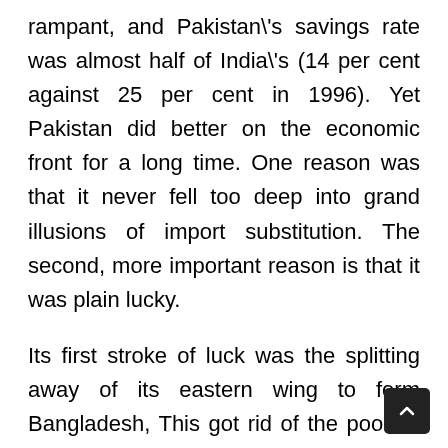rampant, and Pakistan's savings rate was almost half of India's (14 per cent against 25 per cent in 1996). Yet Pakistan did better on the economic front for a long time. One reason was that it never fell too deep into grand illusions of import substitution. The second, more important reason is that it was plain lucky.
Its first stroke of luck was the splitting away of its eastern wing to form Bangladesh, This got rid of the poorest and least productive part of the country. It may have been a political disaster, but was an economic blessing.